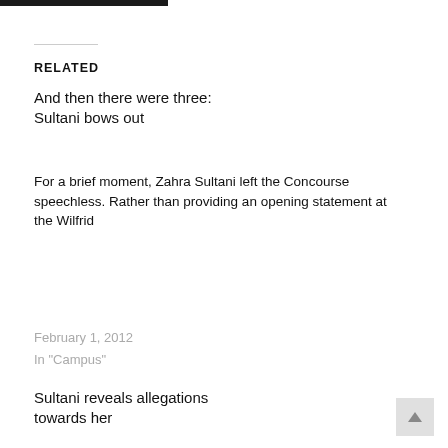RELATED
And then there were three: Sultani bows out
For a brief moment, Zahra Sultani left the Concourse speechless. Rather than providing an opening statement at the Wilfrid
February 1, 2012
In "Campus"
Sultani reveals allegations towards her
After making the surprising decision to step down from the Wilfrid Laurier University Students' Union presidential